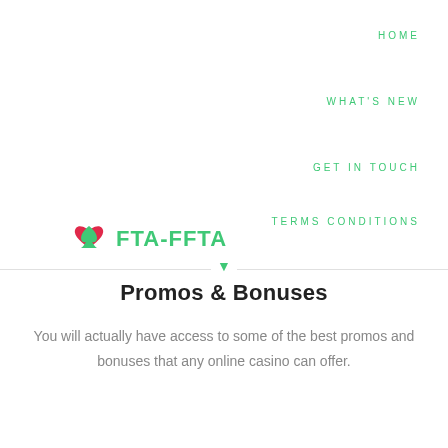HOME
WHAT'S NEW
[Figure (logo): FTA-FFTA logo with red spade/heart card suit icon and green bold text FTA-FFTA]
GET IN TOUCH
TERMS CONDITIONS
Promos & Bonuses
You will actually have access to some of the best promos and bonuses that any online casino can offer.